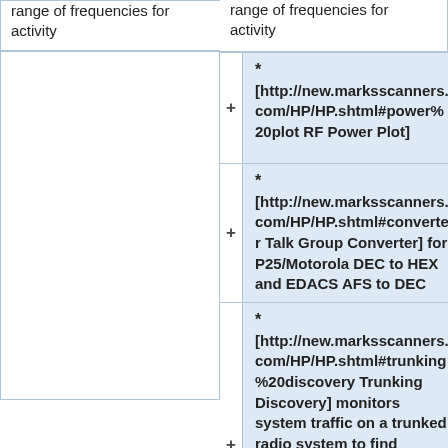range of frequencies for activity
range of frequencies for activity
* [http://new.marksscanners.com/HP/HP.shtml#power%20plot RF Power Plot]
* [http://new.marksscanners.com/HP/HP.shtml#converter Talk Group Converter] for P25/Motorola DEC to HEX and EDACS AFS to DEC
* [http://new.marksscanners.com/HP/HP.shtml#trunking%20discovery Trunking Discovery] monitors system traffic on a trunked radio system to find